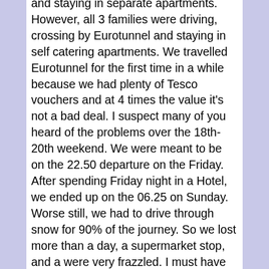and staying in separate apartments. However, all 3 families were driving, crossing by Eurotunnel and staying in self catering apartments. We travelled Eurotunnel for the first time in a while because we had plenty of Tesco vouchers and at 4 times the value it's not a bad deal. I suspect many of you heard of the problems over the 18th-20th weekend. We were meant to be on the 22.50 departure on the Friday. After spending Friday night in a Hotel, we ended up on the 06.25 on Sunday. Worse still, we had to drive through snow for 90% of the journey. So we lost more than a day, a supermarket stop, and a were very frazzled. I must have been over 15 times by car now and this is first time I have had major problems. Another story for another day but a big thumbs down for Eurotunnel on this occasion. Fortunately one of the